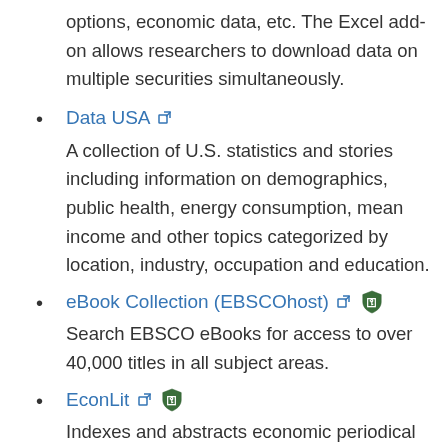options, economic data, etc. The Excel add-on allows researchers to download data on multiple securities simultaneously.
Data USA - A collection of U.S. statistics and stories including information on demographics, public health, energy consumption, mean income and other topics categorized by location, industry, occupation and education.
eBook Collection (EBSCOhost) - Search EBSCO eBooks for access to over 40,000 titles in all subject areas.
EconLit - Indexes and abstracts economic periodical